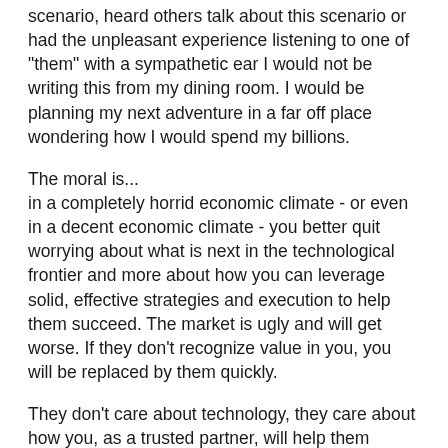scenario, heard others talk about this scenario or had the unpleasant experience listening to one of "them" with a sympathetic ear I would not be writing this from my dining room. I would be planning my next adventure in a far off place wondering how I would spend my billions.
The moral is...
in a completely horrid economic climate - or even in a decent economic climate - you better quit worrying about what is next in the technological frontier and more about how you can leverage solid, effective strategies and execution to help them succeed. The market is ugly and will get worse. If they don't recognize value in you, you will be replaced by them quickly.
They don't care about technology, they care about how you, as a trusted partner, will help them succeed in the all out war companies are already facing for market share in this bad economic situation.
Am I decrying technology - absolutely not - I have had a lot of success concepting, creating and executing digital centric